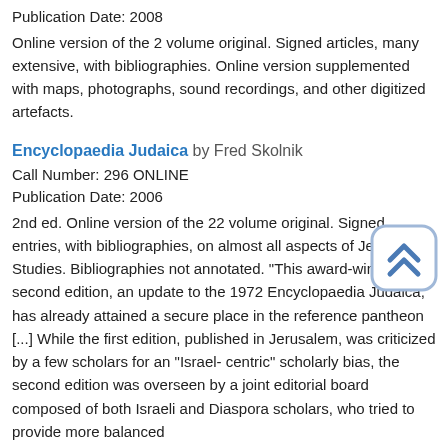Publication Date: 2008
Online version of the 2 volume original. Signed articles, many extensive, with bibliographies. Online version supplemented with maps, photographs, sound recordings, and other digitized artefacts.
Encyclopaedia Judaica by Fred Skolnik
Call Number: 296 ONLINE
Publication Date: 2006
2nd ed. Online version of the 22 volume original. Signed entries, with bibliographies, on almost all aspects of Jewish Studies. Bibliographies not annotated. "This award-winning second edition, an update to the 1972 Encyclopaedia Judaica, has already attained a secure place in the reference pantheon [...] While the first edition, published in Jerusalem, was criticized by a few scholars for an "Israel-centric" scholarly bias, the second edition was overseen by a joint editorial board composed of both Israeli and Diaspora scholars, who tried to provide more balanced